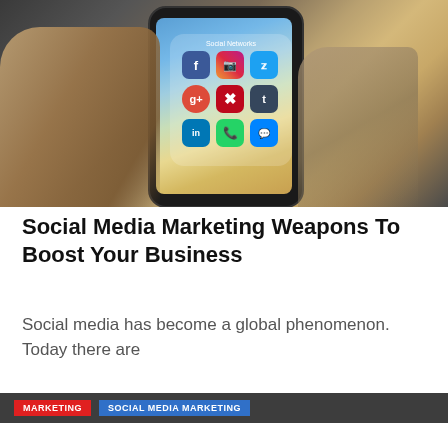[Figure (photo): A hand holding a smartphone displaying a 'Social Networks' folder with icons for Facebook, Instagram, Twitter, Google+, Pinterest, Tumblr, LinkedIn, WhatsApp, and Messenger apps visible on screen.]
Social Media Marketing Weapons To Boost Your Business
Social media has become a global phenomenon. Today there are
[Figure (screenshot): Partial view of article tags/categories bar showing 'MARKETING' and 'SOCIAL MEDIA MARKETING' labels on a dark background.]
Share buttons: Facebook, Twitter, Pinterest, Reddit, Tumblr, Flipboard, More. Share count: 5. Up arrow button.